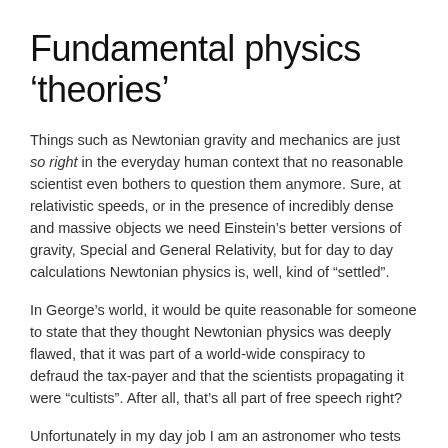Fundamental physics ‘theories’
Things such as Newtonian gravity and mechanics are just so right in the everyday human context that no reasonable scientist even bothers to question them anymore. Sure, at relativistic speeds, or in the presence of incredibly dense and massive objects we need Einstein’s better versions of gravity, Special and General Relativity, but for day to day calculations Newtonian physics is, well, kind of “settled”.
In George’s world, it would be quite reasonable for someone to state that they thought Newtonian physics was deeply flawed, that it was part of a world-wide conspiracy to defraud the tax-payer and that the scientists propagating it were “cultists”. After all, that’s all part of free speech right?
Unfortunately in my day job I am an astronomer who tests